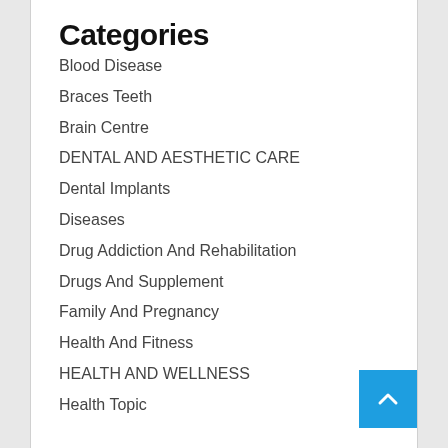Categories
Blood Disease
Braces Teeth
Brain Centre
DENTAL AND AESTHETIC CARE
Dental Implants
Diseases
Drug Addiction And Rehabilitation
Drugs And Supplement
Family And Pregnancy
Health And Fitness
HEALTH AND WELLNESS
Health Topic